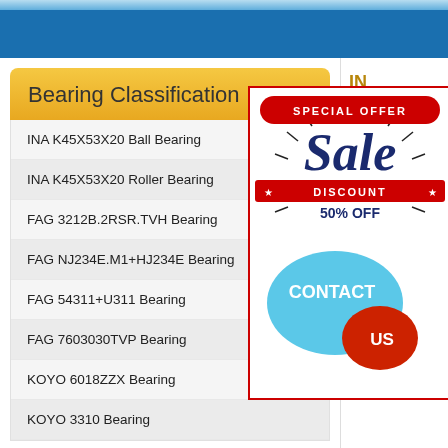Bearing Classification
INA K45X53X20 Ball Bearing
INA K45X53X20 Roller Bearing
FAG 3212B.2RSR.TVH Bearing
FAG NJ234E.M1+HJ234E Bearing
FAG 54311+U311 Bearing
FAG 7603030TVP Bearing
KOYO 6018ZZX Bearing
KOYO 3310 Bearing
INA
Bea
Ne
Old
d (m
D (m
B (m
bearing type: K
Brand: IN
Dimensions: C
[Figure (infographic): Special offer sale advertisement with red banner saying SPECIAL OFFER, large italic Sale text in dark blue, red DISCOUNT banner with stars, 50% OFF text, and a blue Contact Us speech bubble graphic]